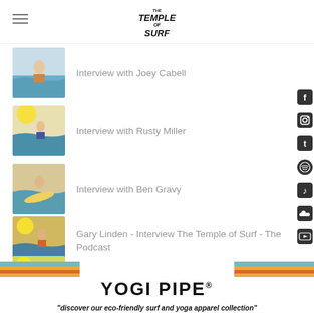The Temple of Surf
Interview with Joey Cabell
Interview with Rusty Miller
Interview with Ben Gravy
Gary Linden - Interview The Temple of Surf - The Podcast
Interview with Jake Mackenzie - Drifter
[Figure (logo): Yogi Pipe logo with retro stripe banner and tagline: discover our eco-friendly surf and yoga apparel collection]